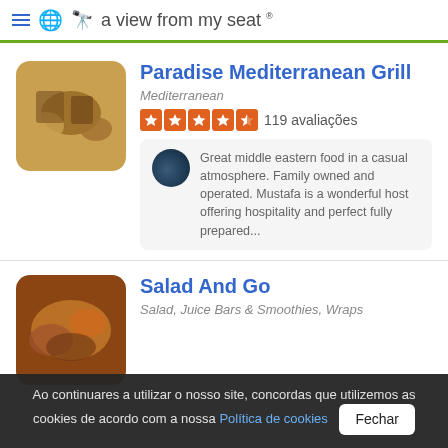a view from my seat ®
Paradise Mediterranean Grill
Mediterranean
119 avaliações
Great middle eastern food in a casual atmosphere. Family owned and operated. Mustafa is a wonderful host offering hospitality and perfect fully prepared...
Salad And Go
Salad, Juice Bars & Smoothies, Wraps
Ao continuares a utilizar o nosso site, concordas que utilizemos as cookies de acordo com a nossa Política de cookies  Fechar